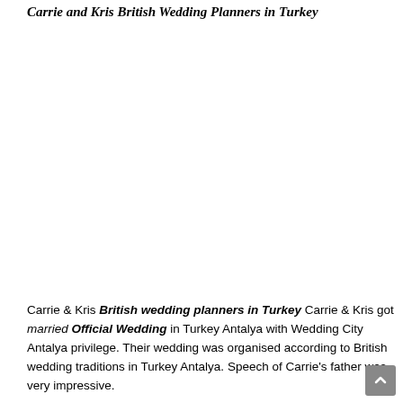Carrie and Kris British Wedding Planners in Turkey
[Figure (photo): Large blank/white image area representing a wedding photo placeholder]
Carrie & Kris British wedding planners in Turkey Carrie & Kris got married Official Wedding in Turkey Antalya with Wedding City Antalya privilege. Their wedding was organised according to British wedding traditions in Turkey Antalya. Speech of Carrie's father was very impressive.